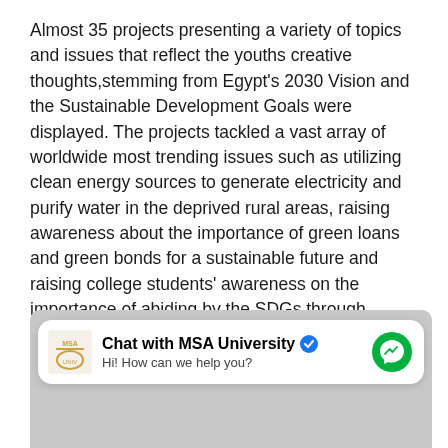Almost 35 projects presenting a variety of topics and issues that reflect the youths creative thoughts,stemming from Egypt's 2030 Vision and the Sustainable Development Goals were displayed. The projects tackled a vast array of worldwide most trending issues such as utilizing clean energy sources to generate electricity and purify water in the deprived rural areas, raising awareness about the importance of green loans and green bonds for a sustainable future and raising college students' awareness on the importance of abiding by the SDGs through simple doable steps, rebranding declining Egyptian brands and reviving Egyptian industries,mental health issues, gender equality, children health, environmental sustainability , bridging the generation gap, parental control, ADHD, and Re-branding Egypt.
[Figure (screenshot): Facebook Messenger chat widget showing MSA University chat option with logo, verified badge, and messenger icon. Text reads 'Chat with MSA University' and 'Hi! How can we help you?']